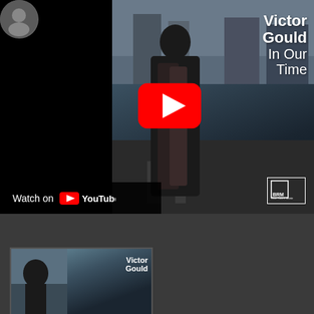[Figure (screenshot): YouTube embedded video player showing Victor Gould 'In Our Time' album cover. Features a person standing on a street wearing a black leather jacket, with bold white text 'Victor Gould In Our Time' on the right side and a red YouTube play button in the center. A 'Watch on YouTube' bar appears at bottom left. A BRM (Blue Room Music) logo is visible bottom right.]
[Figure (screenshot): Second YouTube video thumbnail partially visible at bottom of page, showing the same Victor Gould 'In Our Time' album artwork cropped, with 'Victor Gould' text visible.]